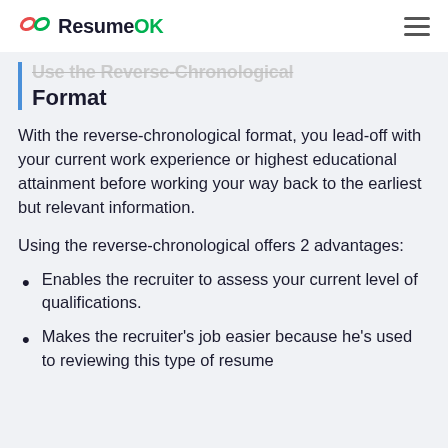ResumeOK
Format
With the reverse-chronological format, you lead-off with your current work experience or highest educational attainment before working your way back to the earliest but relevant information.
Using the reverse-chronological offers 2 advantages:
Enables the recruiter to assess your current level of qualifications.
Makes the recruiter's job easier because he's used to reviewing this type of resume